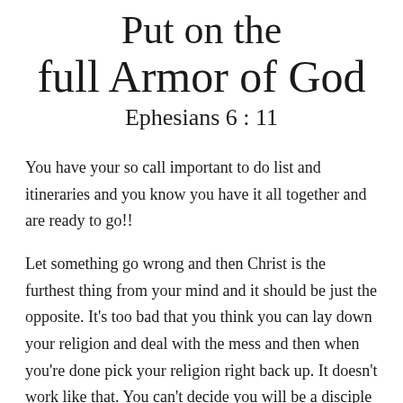Put on the full Armor of God
Ephesians 6:11
You have your so call important to do list and itineraries and you know you have it all together and are ready to go!!
Let something go wrong and then Christ is the furthest thing from your mind and it should be just the opposite. It’s too bad that you think you can lay down your religion and deal with the mess and then when you’re done pick your religion right back up. It doesn’t work like that. You can’t decide you will be a disciple of